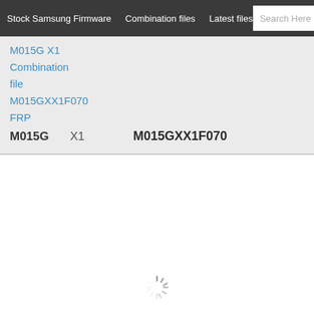Stock Samsung Firmware  Combination files  Latest files
M015G X1 Combination file M015GXX1F070 FRP
M015G  X1  M015GXX1F070
[Figure (other): Loading spinner animation at bottom of page]